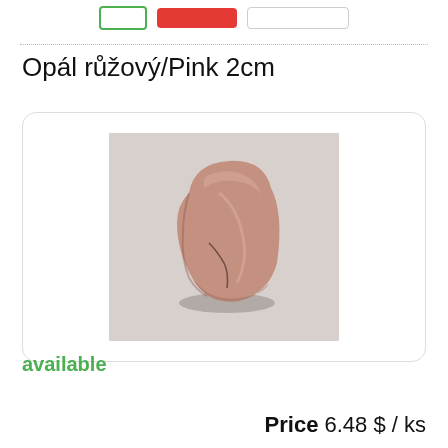[navigation buttons: green outline, red, gray]
Opál růžový/Pink 2cm
[Figure (photo): A small pink opal tumbled stone photographed on a light gray background. The stone is roughly trapezoidal/triangular in shape with a pinkish-brown color and a slight sheen.]
available
Price 6.48 $ / ks